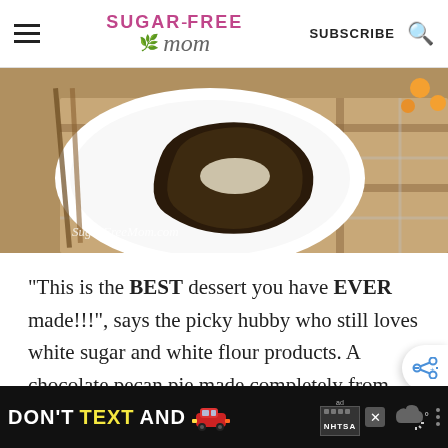Sugar-Free Mom — SUBSCRIBE
[Figure (photo): A slice of chocolate pecan pie on a white plate, placed on a plaid cloth napkin on a wooden surface. Watermark: SugarFreeMom.com]
"This is the BEST dessert you have EVER made!!!", says the picky hubby who still loves white sugar and white flour products. A chocolate pecan pie made completely from scratch, low carb and gluten free. It has everything you'll love. Pe...
[Figure (infographic): Advertisement banner: DON'T TEXT AND [car emoji] — NHTSA ad with close button and weather widget]